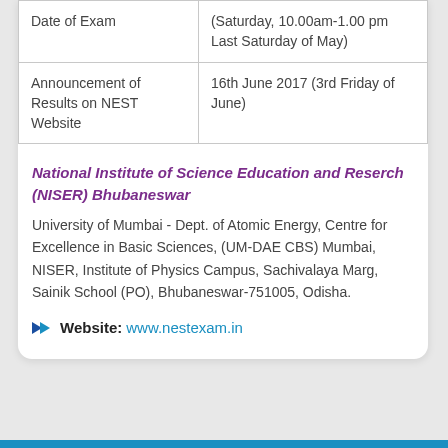| Date of Exam | (Saturday, 10.00am-1.00 pm Last Saturday of May) |
| Announcement of Results on NEST Website | 16th June 2017 (3rd Friday of June) |
National Institute of Science Education and Reserch (NISER) Bhubaneswar
University of Mumbai - Dept. of Atomic Energy, Centre for Excellence in Basic Sciences, (UM-DAE CBS) Mumbai, NISER, Institute of Physics Campus, Sachivalaya Marg, Sainik School (PO), Bhubaneswar-751005, Odisha.
Website: www.nestexam.in